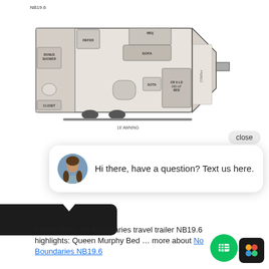[Figure (schematic): Floor plan diagram of Forest River No Boundaries NB19.6 travel trailer showing top-down layout with labeled rooms: Closet, Bonus Shower, Refer, Sofa, Bed, Sota, and 16' Awning annotation below]
close
Hi there, have a question? Text us here.
Forest River No Boundaries travel trailer NB19.6 highlights: Queen Murphy Bed … more about No Boundaries NB19.6